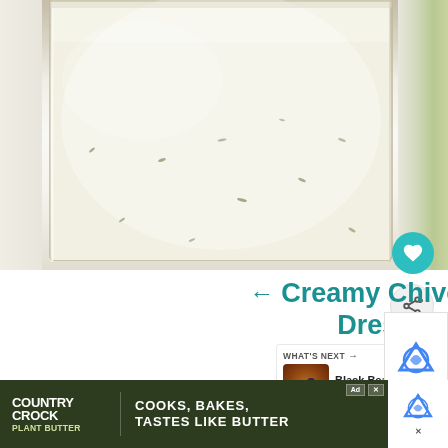[Figure (photo): Close-up photo of creamy chive salad dressing in a glass mason jar, showing thick white/pale yellow dressing with visible green herb flecks]
← Creamy Chive Salad Dressing
[Figure (photo): What's Next thumbnail: Black Bean and Corn... recipe image showing a bowl with colorful ingredients]
[Figure (screenshot): Advertisement: Country Crock Plant Butter - COOKS, BAKES, TASTES LIKE BUTTER]
[Figure (screenshot): reCAPTCHA verification widget partially visible]